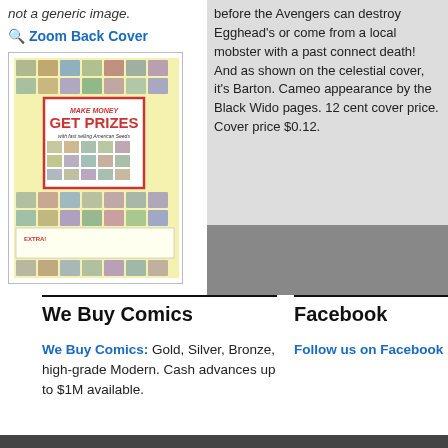not a generic image.
🔍 Zoom Back Cover
[Figure (photo): Scanned comic book back cover showing a 'MAKE MONEY GET PRIZES with fast selling American Seeds' advertisement with a grid of small product images on yellow background]
before the Avengers can destroy Egghead's or come from a local mobster with a past connect death! And as shown on the celestial cover, it's Barton. Cameo appearance by the Black Wido pages. 12 cent cover price. Cover price $0.12.
We Buy Comics
We Buy Comics: Gold, Silver, Bronze, high-grade Modern. Cash advances up to $1M available.
Facebook
Follow us on Facebook